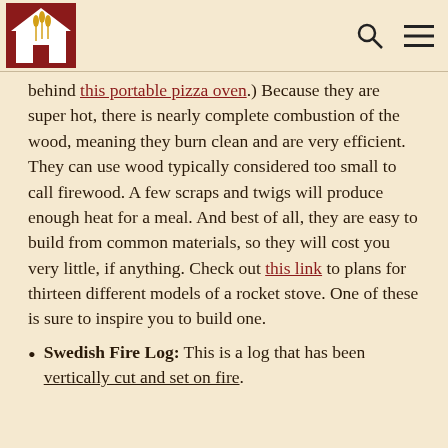[Logo: house with wheat] [search icon] [menu icon]
behind this portable pizza oven.) Because they are super hot, there is nearly complete combustion of the wood, meaning they burn clean and are very efficient. They can use wood typically considered too small to call firewood. A few scraps and twigs will produce enough heat for a meal. And best of all, they are easy to build from common materials, so they will cost you very little, if anything. Check out this link to plans for thirteen different models of a rocket stove. One of these is sure to inspire you to build one.
Swedish Fire Log: This is a log that has been vertically cut and set on fire.